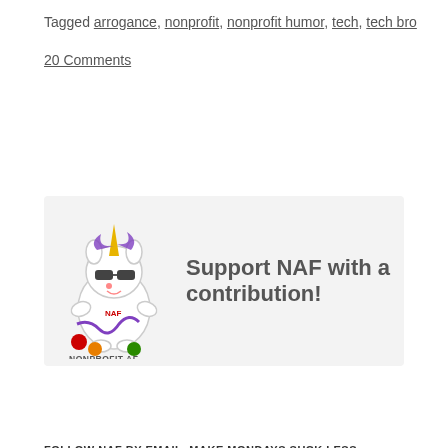Tagged arrogance, nonprofit, nonprofit humor, tech, tech bro
20 Comments
[Figure (illustration): Nonprofit AF mascot banner with unicorn character and text 'Support NAF with a contribution!']
Search ...
FOLLOW NAF BY EMAIL. MAKE MONDAYS SUCK LESS